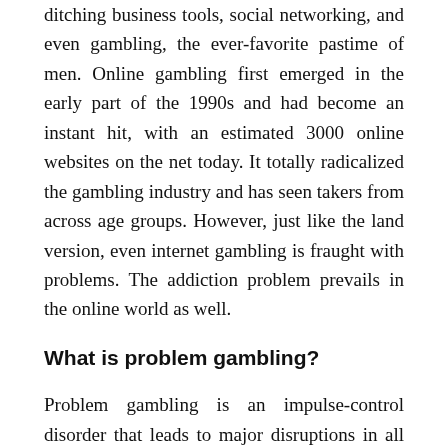ditching business tools, social networking, and even gambling, the ever-favorite pastime of men. Online gambling first emerged in the early part of the 1990s and had become an instant hit, with an estimated 3000 online websites on the net today. It totally radicalized the gambling industry and has seen takers from across age groups. However, just like the land version, even internet gambling is fraught with problems. The addiction problem prevails in the online world as well.
What is problem gambling?
Problem gambling is an impulse-control disorder that leads to major disruptions in all areas of life: psychological, social, vocational or physical. It also includes the stage of 'pathological' or 'compulsive' gambling. Problem gambling is characterized by an increasing preoccupation with gambling. They have an urge to bet money more frequently and become restless or irritable, if anyone tries to stop. They usually are aware of the mounting, serious